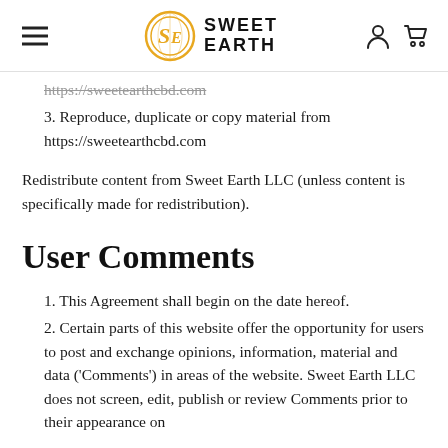Sweet Earth (logo)
https://sweetearthcbd.com (partial, strikethrough)
3. Reproduce, duplicate or copy material from https://sweetearthcbd.com
Redistribute content from Sweet Earth LLC (unless content is specifically made for redistribution).
User Comments
1. This Agreement shall begin on the date hereof.
2. Certain parts of this website offer the opportunity for users to post and exchange opinions, information, material and data ('Comments') in areas of the website. Sweet Earth LLC does not screen, edit, publish or review Comments prior to their appearance on